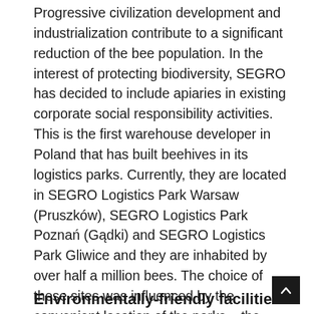Progressive civilization development and industrialization contribute to a significant reduction of the bee population. In the interest of protecting biodiversity, SEGRO has decided to include apiaries in existing corporate social responsibility activities. This is the first warehouse developer in Poland that has built beehives in its logistics parks. Currently, they are located in SEGRO Logistics Park Warsaw (Pruszków), SEGRO Logistics Park Poznań (Gądki) and SEGRO Logistics Park Gliwice and they are inhabited by over half a million bees. The choice of these sites was influenced by the convenient location of the parks – the hives were placed relatively close to crops, because bees pollinate up to three-quarters of the main crop plants. Insects living in the apiaries within the parks can produce about 200 kg of honey annually.
Environmentally-friendly facilities